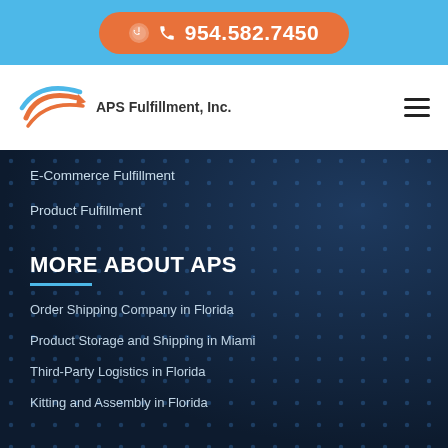954.582.7450
[Figure (logo): APS Fulfillment, Inc. logo with stylized swoosh icon and company name]
E-Commerce Fulfillment
Product Fulfillment
MORE ABOUT APS
Order Shipping Company in Florida
Product Storage and Shipping in Miami
Third-Party Logistics in Florida
Kitting and Assembly in Florida